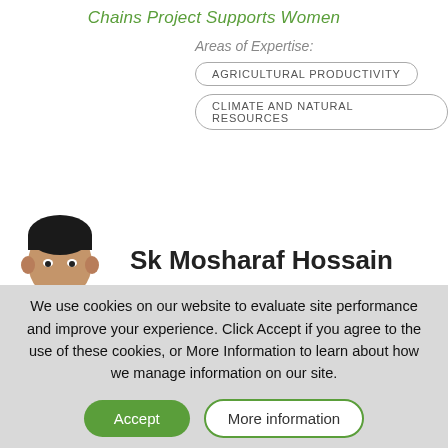Chains Project Supports Women
Areas of Expertise:
AGRICULTURAL PRODUCTIVITY
CLIMATE AND NATURAL RESOURCES
Sk Mosharaf Hossain
We use cookies on our website to evaluate site performance and improve your experience. Click Accept if you agree to the use of these cookies, or More Information to learn about how we manage information on our site.